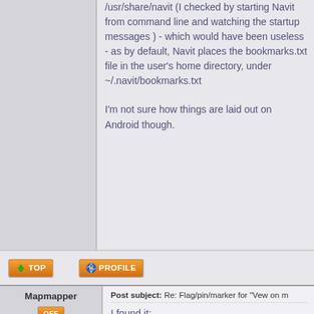/usr/share/navit (I checked by starting Navit from command line and watching the startup messages ) - which would have been useless - as by default, Navit places the bookmarks.txt file in the user's home directory, under ~/.navit/bookmarks.txt

I'm not sure how things are laid out on Android though.
[Figure (screenshot): Orange 'TOP' button with green up-arrow icon]
[Figure (screenshot): Orange 'PROFILE' button with globe/person icon]
Mapmapper
Post subject: Re: Flag/pin/marker for "Vew on m
[Figure (screenshot): Orange OFF/offline indicator button]
I found it:
Joined: 26 Sep 2013, 10:59
This for Android: